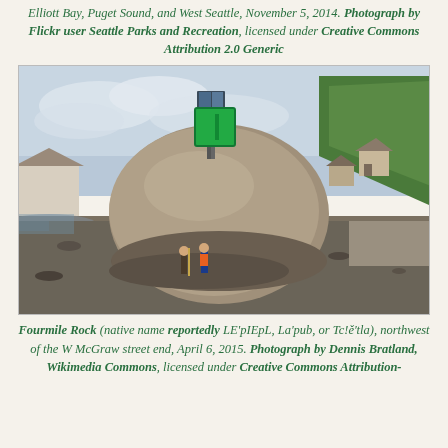Elliott Bay, Puget Sound, and West Seattle, November 5, 2014. Photograph by Flickr user Seattle Parks and Recreation, licensed under Creative Commons Attribution 2.0 Generic
[Figure (photo): Fourmile Rock on a rocky beach at low tide, with two children standing at its base for scale. A green navigation marker with solar panel sits atop the large rounded boulder. Trees and houses visible on hillside in background.]
Fourmile Rock (native name reportedly LE'pIEpL, La'pub, or Tc!ě'tla), northwest of the W McGraw street end, April 6, 2015. Photograph by Dennis Bratland, Wikimedia Commons, licensed under Creative Commons Attribution-